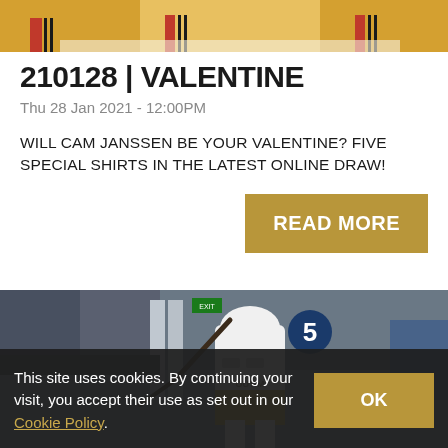[Figure (photo): Top portion of hockey jerseys on display - gold/yellow and white colors visible]
210128 | VALENTINE
Thu 28 Jan 2021 - 12:00PM
WILL CAM JANSSEN BE YOUR VALENTINE? FIVE SPECIAL SHIRTS IN THE LATEST ONLINE DRAW!
READ MORE
[Figure (photo): Ice hockey player in white helmet and jersey with stick raised, number 27, on rink]
This site uses cookies. By continuing your visit, you accept their use as set out in our Cookie Policy.